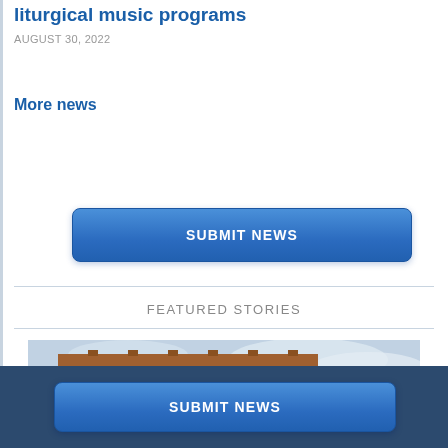liturgical music programs
AUGUST 30, 2022
More news
SUBMIT NEWS
FEATURED STORIES
[Figure (photo): Brick building exterior with arched windows photographed from below against a cloudy sky]
SUBMIT NEWS